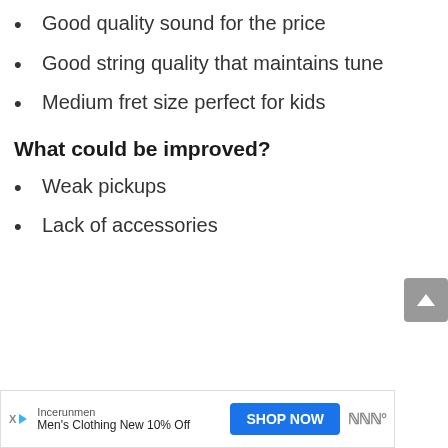Good quality sound for the price
Good string quality that maintains tune
Medium fret size perfect for kids
What could be improved?
Weak pickups
Lack of accessories
[Figure (other): Advertisement banner: Incerunmen Men's Clothing New 10% Off with SHOP NOW button]